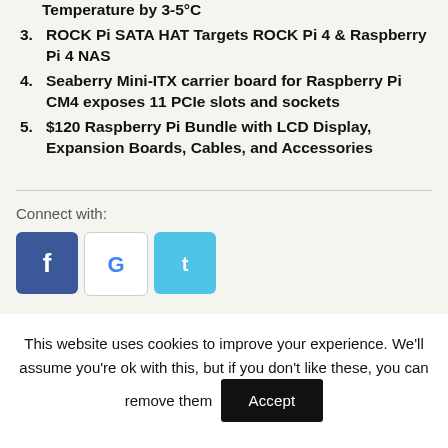Temperature by 3-5°C
ROCK Pi SATA HAT Targets ROCK Pi 4 & Raspberry Pi 4 NAS
Seaberry Mini-ITX carrier board for Raspberry Pi CM4 exposes 11 PCIe slots and sockets
$120 Raspberry Pi Bundle with LCD Display, Expansion Boards, Cables, and Accessories
Connect with:
[Figure (logo): Facebook, Google, and Twitter social login/connect icons]
This website uses cookies to improve your experience. We'll assume you're ok with this, but if you don't like these, you can remove them  Accept